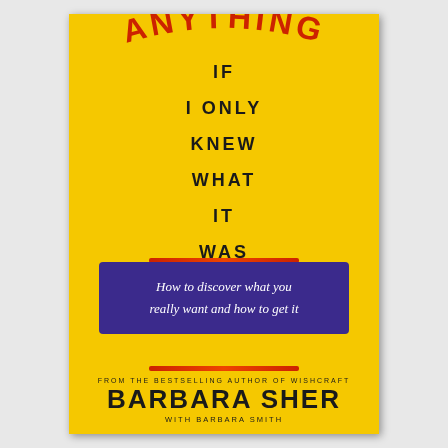[Figure (illustration): Book cover with yellow background. Title 'ANYTHING' in red arched text at top, subtitle words 'IF I ONLY KNEW WHAT IT WAS' stacked vertically in bold black uppercase letters. Purple box with italic white text 'How to discover what you really want and how to get it'. Author name 'BARBARA SHER' in large bold black letters at bottom, with 'WITH BARBARA SMITH' below.]